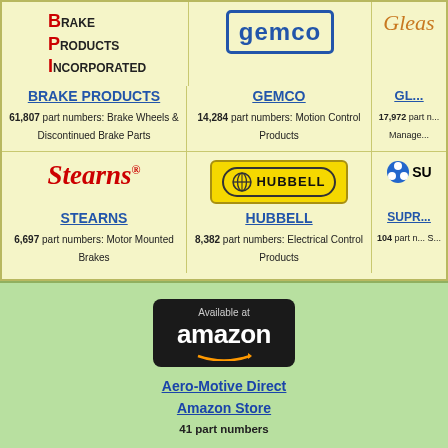[Figure (logo): Brake Products Incorporated (BPI) logo with red B, P, I letters]
BRAKE PRODUCTS
61,807 part numbers: Brake Wheels & Discontinued Brake Parts
[Figure (logo): GEMCO logo in blue rounded rectangle border]
GEMCO
14,284 part numbers: Motion Control Products
[Figure (logo): Gleason logo partially visible]
GL...
17,972 part numbers...
[Figure (logo): Stearns logo in red italic]
STEARNS
6,697 part numbers: Motor Mounted Brakes
[Figure (logo): Hubbell logo in yellow box with globe]
HUBBELL
8,382 part numbers: Electrical Control Products
[Figure (logo): Superior logo partially visible]
SUPR...
104 part numbers...
[Figure (logo): Amazon badge - Available at amazon]
Aero-Motive Direct Amazon Store
41 part numbers
AUTOMATIC QUA...
BPI's web orders and web site generated PDF q...
Quotation is valid for 30 days and o...
CREDIT TER...